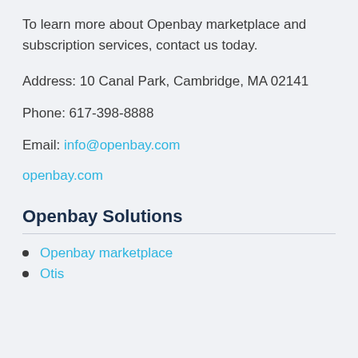To learn more about Openbay marketplace and subscription services, contact us today.
Address: 10 Canal Park, Cambridge, MA 02141
Phone: 617-398-8888
Email: info@openbay.com
openbay.com
Openbay Solutions
Openbay marketplace
Otis